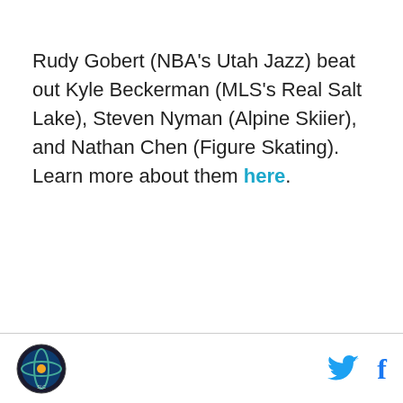Rudy Gobert (NBA's Utah Jazz) beat out Kyle Beckerman (MLS's Real Salt Lake), Steven Nyman (Alpine Skiier), and Nathan Chen (Figure Skating). Learn more about them here.
[logo] [twitter] [facebook]